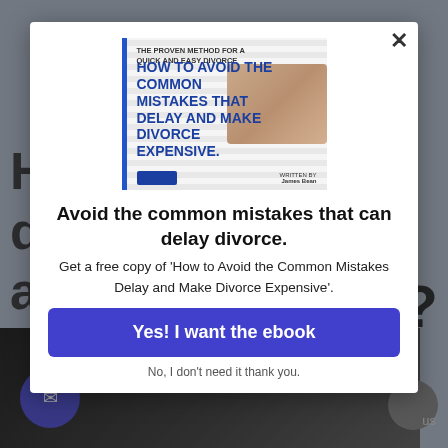[Figure (screenshot): A modal popup dialog over a dimmed webpage background. The modal contains a book cover image for 'How to Avoid the Common Mistakes That Delay and Make Divorce Expensive', followed by a headline, body text, a CTA button, and a decline link.]
Avoid the common mistakes that can delay divorce.
Get a free copy of 'How to Avoid the Common Mistakes Delay and Make Divorce Expensive'.
Yes! I want the ebook
No, I don't need it thank you.